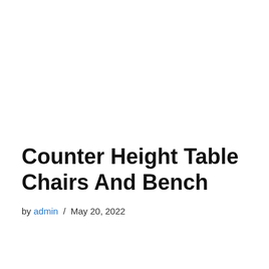Counter Height Table Chairs And Bench
by admin / May 20, 2022